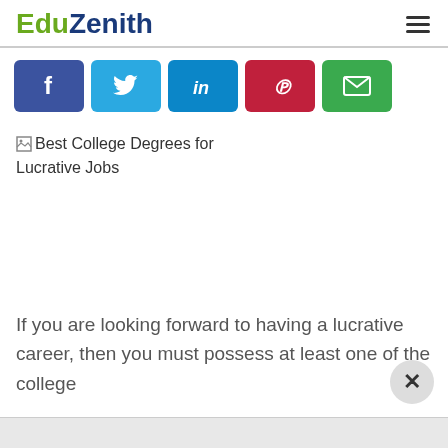EduZenith
[Figure (infographic): Social share buttons row: Facebook (dark blue), Twitter (sky blue), LinkedIn (blue), Pinterest (red), Email (green)]
[Figure (photo): Broken image placeholder for 'Best College Degrees for Lucrative Jobs']
If you are looking forward to having a lucrative career, then you must possess at least one of the college